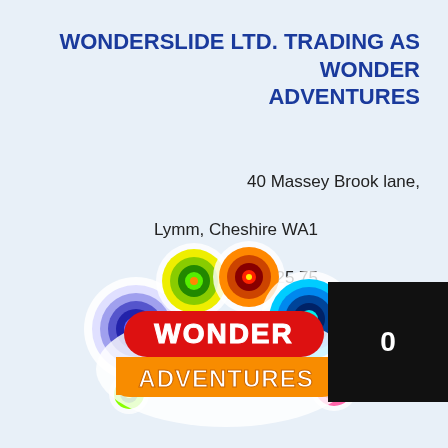WONDERSLIDE LTD. TRADING AS WONDER ADVENTURES
40 Massey Brook lane,
Lymm, Cheshire WA1[redacted]
Tel. +44 1925 75[redacted]
hello@wonderadventures.co.uk
[Figure (logo): Wonder Adventures colorful logo with concentric circle decorations and bold text WONDER ADVENTURES on red and orange banners]